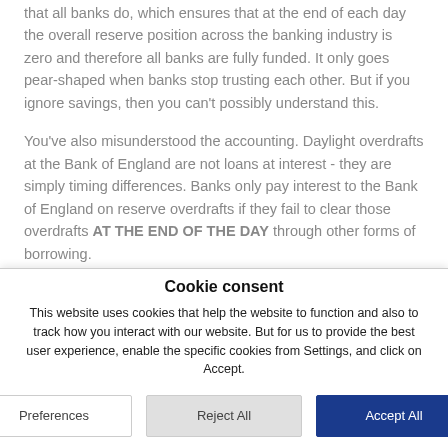that all banks do, which ensures that at the end of each day the overall reserve position across the banking industry is zero and therefore all banks are fully funded. It only goes pear-shaped when banks stop trusting each other. But if you ignore savings, then you can't possibly understand this.
You've also misunderstood the accounting. Daylight overdrafts at the Bank of England are not loans at interest - they are simply timing differences. Banks only pay interest to the Bank of England on reserve overdrafts if they fail to clear those overdrafts AT THE END OF THE DAY through other forms of borrowing.
Cookie consent
This website uses cookies that help the website to function and also to track how you interact with our website. But for us to provide the best user experience, enable the specific cookies from Settings, and click on Accept.